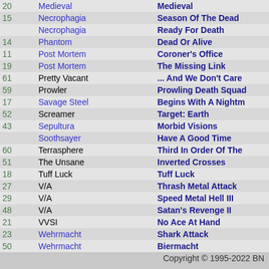| # | Band | Album |
| --- | --- | --- |
| 20 | Medieval | Medieval |
| 15 | Necrophagia | Season Of The Dead |
|  | Necrophagia | Ready For Death |
| 14 | Phantom | Dead Or Alive |
| 11 | Post Mortem | Coroner's Office |
| 19 | Post Mortem | The Missing Link |
| 61 | Pretty Vacant | ... And We Don't Care |
| 59 | Prowler | Prowling Death Squad |
| 17 | Savage Steel | Begins With A Nightmare |
| 52 | Screamer | Target: Earth |
| 43 | Sepultura | Morbid Visions |
|  | Soothsayer | Have A Good Time |
| 60 | Terrasphere | Third In Order Of The |
| 51 | The Unsane | Inverted Crosses |
| 18 | Tuff Luck | Tuff Luck |
| 27 | V/A | Thrash Metal Attack |
| 29 | V/A | Speed Metal Hell III |
| 48 | V/A | Satan's Revenge II |
| 21 | VVSI | No Ace At Hand |
| 23 | Wehrmacht | Shark Attack |
| 50 | Wehrmacht | Biermacht |
Copyright © 1995-2022 BN